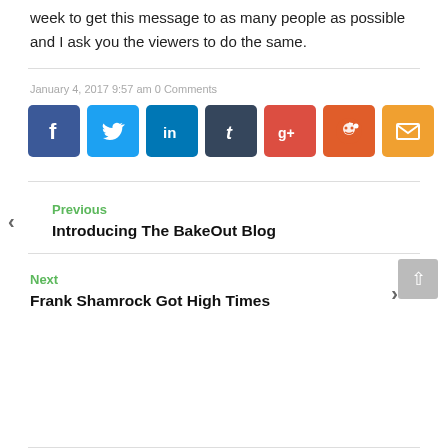week to get this message to as many people as possible and I ask you the viewers to do the same.
January 4, 2017 9:57 am 0 Comments
[Figure (infographic): Row of 7 social sharing icon buttons: Facebook (blue), Twitter (light blue), LinkedIn (blue), Tumblr (dark slate), Google+ (red), Reddit (orange-red), Email (orange)]
Previous
Introducing The BakeOut Blog
Next
Frank Shamrock Got High Times